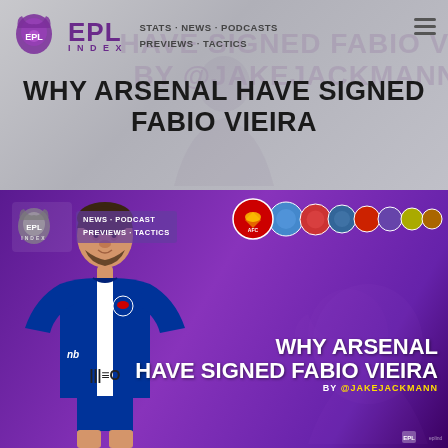[Figure (screenshot): EPL Index website screenshot showing article page. Top navigation bar with EPL Index logo (purple lion mascot), nav links STATS · NEWS · PODCASTS, PREVIEWS · TACTICS, and hamburger menu icon. Ghost text in background reads HAVE SIGNED FABIO VIEIRA BY @JAKEJACKMANN. Main headline WHY ARSENAL HAVE SIGNED FABIO VIEIRA in large bold black uppercase text. Below is a promotional thumbnail image with purple gradient background showing the EPL Index logo and nav links, Arsenal and Premier League club badge strip, bold white text WHY ARSENAL HAVE SIGNED FABIO VIEIRA BY @JAKEJACKMANN, and a photo of Fabio Vieira in Porto blue and white kit.]